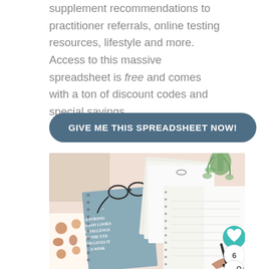supplement recommendations to practitioner referrals, online testing resources, lifestyle and more. Access to this massive spreadsheet is free and comes with a ton of discount codes and special savings.
GIVE ME THIS SPREADSHEET NOW!
[Figure (photo): Overhead flat-lay photo of a desk with open notebooks, a spiral journal with a motivational quote about a strong woman, a pen in hand, glasses, papers, and a small potted green plant on a light pink surface.]